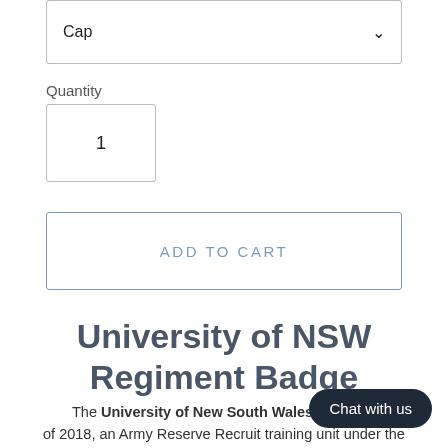Cap (dropdown)
Quantity
1
ADD TO CART
University of NSW Regiment Badge
The University of New South Wales Regiment, as of 2018, an Army Reserve Recruit training unit under the